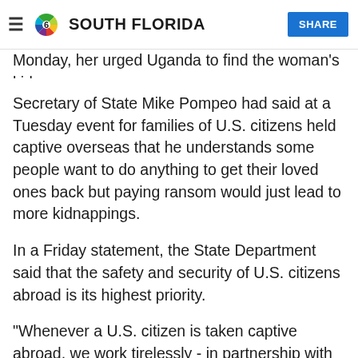NBC 6 South Florida | SHARE
Monday, her urged Uganda to find the woman's kidnappers.
Secretary of State Mike Pompeo had said at a Tuesday event for families of U.S. citizens held captive overseas that he understands some people want to do anything to get their loved ones back but paying ransom would just lead to more kidnappings.
In a Friday statement, the State Department said that the safety and security of U.S. citizens abroad is its highest priority.
"Whenever a U.S. citizen is taken captive abroad, we work tirelessly - in partnership with local authorities - to secure their release and get them home safely," the statement said.